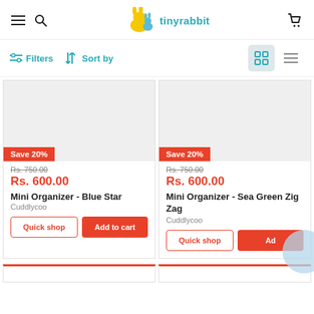tinyrabbit - navigation header with hamburger menu, search, logo, and cart
Filters | Sort by | Grid view | List view
[Figure (screenshot): Product card: Mini Organizer - Blue Star. Save 20% badge. Original price Rs. 750.00 (strikethrough). Sale price Rs. 600.00 in red. Brand: Cuddlycoo. Buttons: Quick shop, Add to cart.]
[Figure (screenshot): Product card: Mini Organizer - Sea Green Zig Zag. Save 20% badge. Original price Rs. 750.00 (strikethrough). Sale price Rs. 600.00 in red. Brand: Cuddlycoo. Buttons: Quick shop, Add to cart (partially hidden by loading circle).]